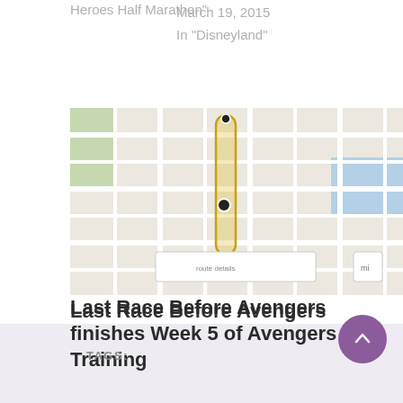Heroes Half Marathon"
March 19, 2015
In "Disneyland"
[Figure (map): Map showing a running route with a narrow vertical loop path highlighted in yellow/gold on a street map background]
Last Race Before Avengers finishes Week 5 of Avengers Training
October 13, 2014
In "Goals"
TAGS: